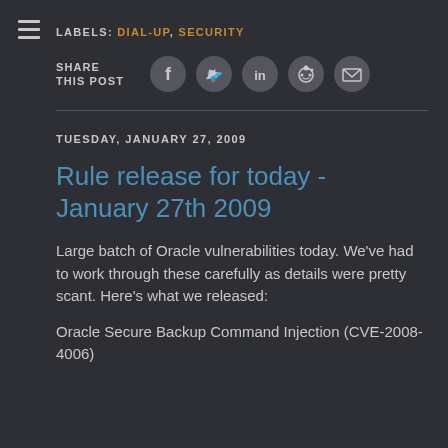LABELS: DIAL-UP, SECURITY
SHARE THIS POST
TUESDAY, JANUARY 27, 2009
Rule release for today - January 27th 2009
Large batch of Oracle vulnerabilities today. We've had to work through these carefully as details were pretty scant. Here's what we released:
Oracle Secure Backup Command Injection (CVE-2008-4006)